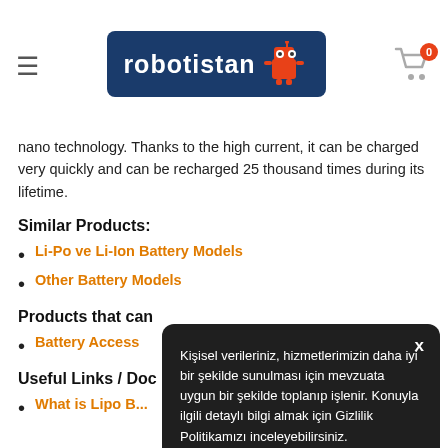robotistan — hamburger menu and cart
nano technology. Thanks to the high current, it can be charged very quickly and can be recharged 25 thousand times during its lifetime.
Similar Products:
Li-Po ve Li-Ion Battery Models
Other Battery Models
Products that can
Battery Access...
Useful Links / Doo...
What is Lipo B...
Kişisel verileriniz, hizmetlerimizin daha iyi bir şekilde sunulması için mevzuata uygun bir şekilde toplanıp işlenir. Konuyla ilgili detaylı bilgi almak için Gizlilik Politikamızı inceleyebilirsiniz.